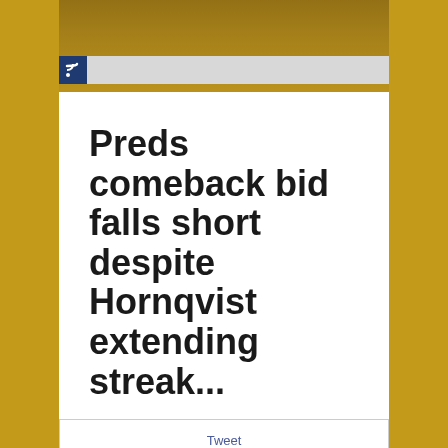[Figure (photo): Arena background photo with golden/amber tinted overlay showing a sports venue]
RSS feed icon and navigation bar
Preds comeback bid falls short despite Hornqvist extending streak...
Tweet
Pin It
[Figure (photo): Indoor hockey arena photo showing scoreboard with STAPLES sign and arena seating]